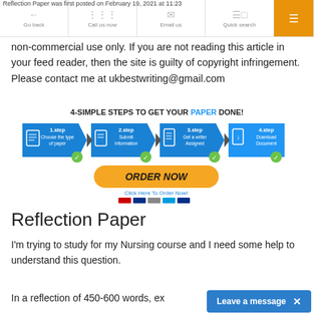Reflection Paper was first posted on February 19, 2021 at 11:23
Go back | Call us now | Email us | Quick search | Menu
non-commercial use only. If you are not reading this article in your feed reader, then the site is guilty of copyright infringement. Please contact me at ukbestwriting@gmail.com
[Figure (infographic): 4 simple steps to get your paper done: 1.step Choose the type of paper, 2.step Submit Information, 3.step Get a writer Assigned, 4.step Download Document. ORDER NOW button with Click Here To Order Now! and payment icons.]
Reflection Paper
I'm trying to study for my Nursing course and I need some help to understand this question.
In a reflection of 450-600 words, ex